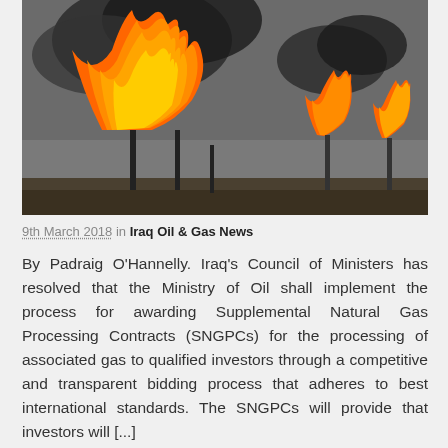[Figure (photo): Industrial gas flare towers with large orange flames and black smoke against a grey sky]
9th March 2018 in Iraq Oil & Gas News
By Padraig O'Hannelly. Iraq's Council of Ministers has resolved that the Ministry of Oil shall implement the process for awarding Supplemental Natural Gas Processing Contracts (SNGPCs) for the processing of associated gas to qualified investors through a competitive and transparent bidding process that adheres to best international standards. The SNGPCs will provide that investors will [...]